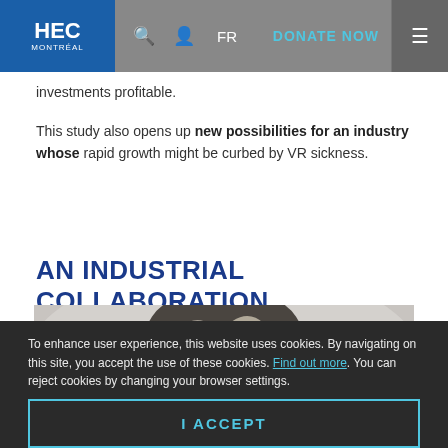HEC Montréal | FR | DONATE NOW
investments profitable.
This study also opens up new possibilities for an industry whose rapid growth might be curbed by VR sickness.
AN INDUSTRIAL COLLABORATION
[Figure (photo): Portrait photo of a man with grey and dark hair against a light grey background, showing top of head.]
To enhance user experience, this website uses cookies. By navigating on this site, you accept the use of these cookies. Find out more. You can reject cookies by changing your browser settings.
I ACCEPT